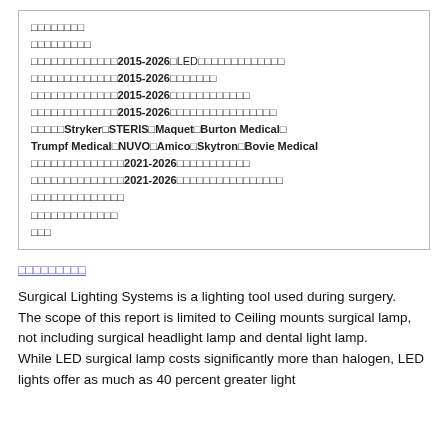□□□□□□□□
□□□□□□□□□
□□□□□□□□□□□□□2015-2026□LED□□□□□□□□□□□□□
□□□□□□□□□□□□□2015-2026□□□□□□□
□□□□□□□□□□□□□2015-2026□□□□□□□□□□□□
□□□□□□□□□□□□□2015-2026□□□□□□□□□□□□□□□□
□□□□□Stryker□STERIS□Maquet□Burton Medical□Trumpf Medical□NUVO□Amico□Skytron□Bovie Medical
□□□□□□□□□□□□□□2021-2026□□□□□□□□□□□
□□□□□□□□□□□□□□2021-2026□□□□□□□□□□□□□□□□
□□□□□□□□□□□□□□
□□□□□□□□□□□□□
□□□
□□□□□□□□□
Surgical Lighting Systems is a lighting tool used during surgery.
The scope of this report is limited to Ceiling mounts surgical lamp, not including surgical headlight lamp and dental light lamp.
While LED surgical lamp costs significantly more than halogen, LED lights offer as much as 40 percent greater light